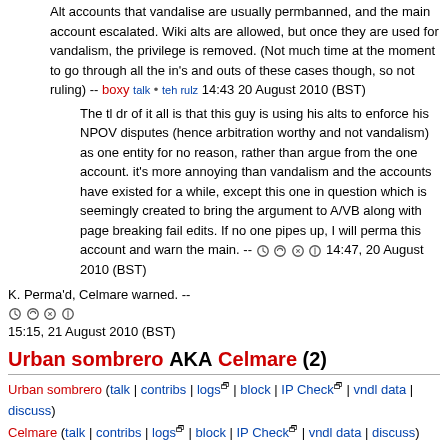Alt accounts that vandalise are usually permbanned, and the main account escalated. Wiki alts are allowed, but once they are used for vandalism, the privilege is removed. (Not much time at the moment to go through all the in's and outs of these cases though, so not ruling) -- boxy talk • teh rulz 14:43 20 August 2010 (BST)
The tl dr of it all is that this guy is using his alts to enforce his NPOV disputes (hence arbitration worthy and not vandalism) as one entity for no reason, rather than argue from the one account. it's more annoying than vandalism and the accounts have existed for a while, except this one in question which is seemingly created to bring the argument to A/VB along with page breaking fail edits. If no one pipes up, I will perma this account and warn the main. -- [sig icons] 14:47, 20 August 2010 (BST)
K. Perma'd, Celmare warned. -- [sig icons] 15:15, 21 August 2010 (BST)
Urban sombrero AKA Celmare (2)
Urban sombrero (talk | contribs | logs | block | IP Check | vndl data | discuss)
Celmare (talk | contribs | logs | block | IP Check | vndl data | discuss)
Here Impersonation. Silly. -- Rosslessness 12:41, 19 August 2010 (BST)
| Verdict | Action taken |
| --- | --- |
| Vandalism | Celmare warned |